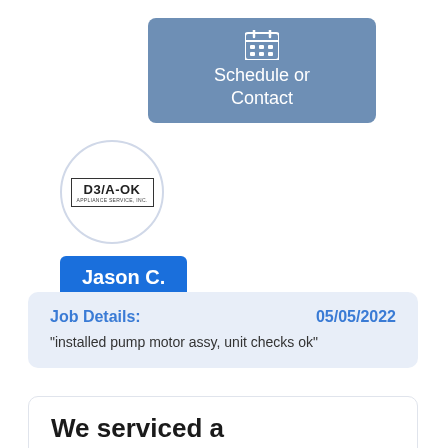[Figure (illustration): Blue-grey rounded rectangle button with a calendar icon and text 'Schedule or Contact']
[Figure (logo): D3/A-OK Appliance Service Inc. logo inside a circular border]
Jason C.
Job Details:   05/05/2022
"installed pump motor assy, unit checks ok"
We serviced a